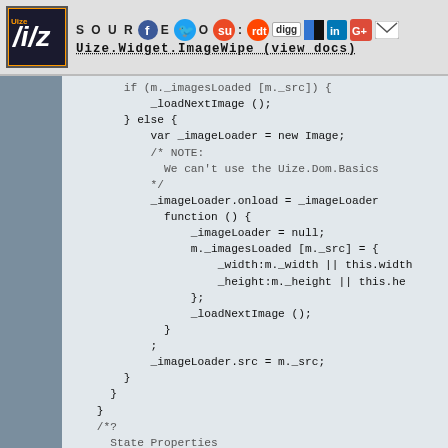SOURCE: Uize.Widget.ImageWipe (view docs)
[Figure (screenshot): JavaScript source code showing image loading logic with if/else block, _imageLoader setup, onload handler, and State Properties comment section]
if (m._imagesLoaded [m._src]) {
	_loadNextImage ();
} else {
	var _imageLoader = new Image;
	/* NOTE:
	  We can't use the Uize.Dom.Basics
	*/
	_imageLoader.onload = _imageLoader
		function () {
			_imageLoader = null;
			m._imagesLoaded [m._src] = {
				_width:m._width || this.width
				_height:m._height || this.he
			};
			_loadNextImage ();
		}
	;
	_imageLoader.src = m._src;
}
}
}
/*?
	State Properties
		src
			A string, representing the URL of t